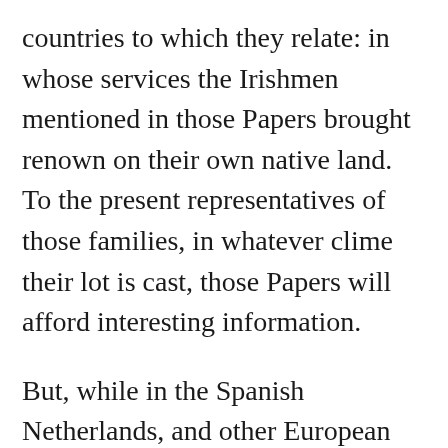countries to which they relate: in whose services the Irishmen mentioned in those Papers brought renown on their own native land. To the present representatives of those families, in whatever clime their lot is cast, those Papers will afford interesting information.

But, while in the Spanish Netherlands, and other European countries, Irishmen have shed lustre on their native country, we venture to say that nowhere and under no circumstances have they displayed more heroism, magnanimity, dauntless enterprise, genius, dignity, burning zeal, good citizenship, unsullied fidelity, and administrative